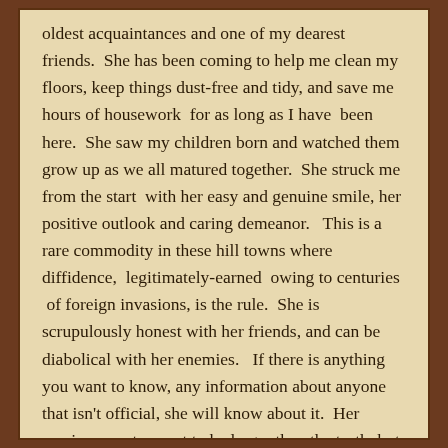oldest acquaintances and one of my dearest friends.  She has been coming to help me clean my floors, keep things dust-free and tidy, and save me hours of housework  for as long as I have  been here.  She saw my children born and watched them grow up as we all matured together.  She struck me from the start  with her easy and genuine smile, her positive outlook and caring demeanor.   This is a rare commodity in these hill towns where diffidence,  legitimately-earned  owing to centuries  of foreign invasions, is the rule.  She is scrupulously honest with her friends, and can be diabolical with her enemies.   If there is anything you want to know, any information about anyone that isn't official, she will know about it.  Her version may turn out to be larger than the truth, but I can count on getting any